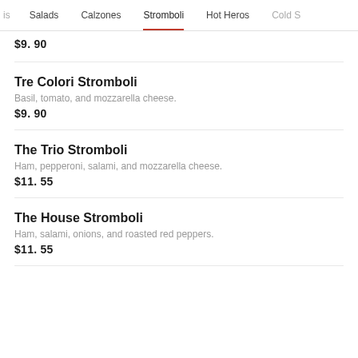is  Salads  Calzones  Stromboli  Hot Heros  Cold S
$9.90
Tre Colori Stromboli
Basil, tomato, and mozzarella cheese.
$9.90
The Trio Stromboli
Ham, pepperoni, salami, and mozzarella cheese.
$11.55
The House Stromboli
Ham, salami, onions, and roasted red peppers.
$11.55